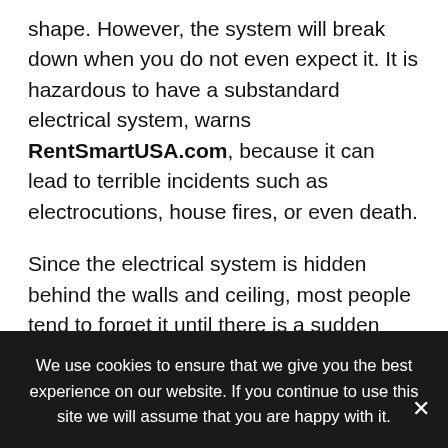shape. However, the system will break down when you do not even expect it. It is hazardous to have a substandard electrical system, warns RentSmartUSA.com, because it can lead to terrible incidents such as electrocutions, house fires, or even death.
Since the electrical system is hidden behind the walls and ceiling, most people tend to forget it until there is a sudden breakdown. It will be best not to wait for your electrical system to fail before updating it. Several undesirable things may occur before the system fails.
We use cookies to ensure that we give you the best experience on our website. If you continue to use this site we will assume that you are happy with it.